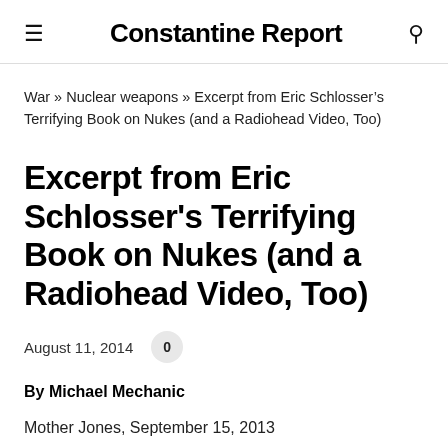Constantine Report
War » Nuclear weapons » Excerpt from Eric Schlosser's Terrifying Book on Nukes (and a Radiohead Video, Too)
Excerpt from Eric Schlosser's Terrifying Book on Nukes (and a Radiohead Video, Too)
August 11, 2014   0
By Michael Mechanic
Mother Jones, September 15, 2013